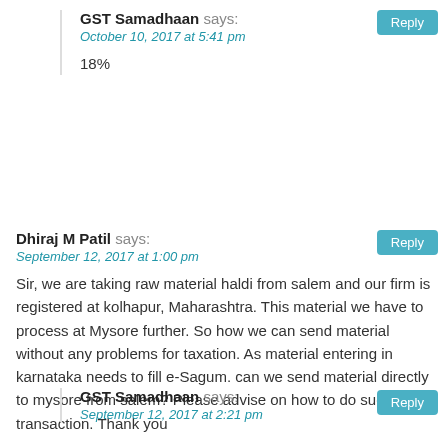GST Samadhaan says:
October 10, 2017 at 5:41 pm
18%
Dhiraj M Patil says:
September 12, 2017 at 1:00 pm
Sir, we are taking raw material haldi from salem and our firm is registered at kolhapur, Maharashtra. This material we have to process at Mysore further. So how we can send material without any problems for taxation. As material entering in karnataka needs to fill e-Sagum. can we send material directly to mysore from salem? Please advise on how to do such transaction. Thank you
GST Samadhaan says:
September 12, 2017 at 2:21 pm